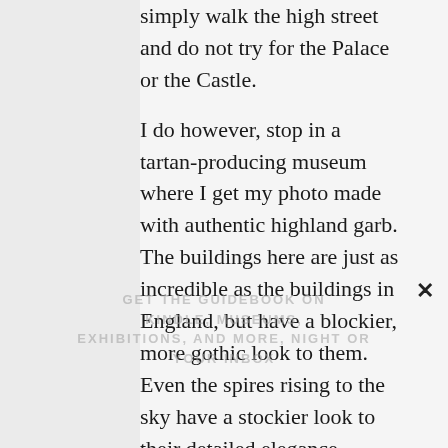simply walk the high street and do not try for the Palace or the Castle.
I do however, stop in a tartan-producing museum where I get my photo made with authentic highland garb. The buildings here are just as incredible as the buildings in England, but have a blockier, more gothic look to them. Even the spires rising to the sky have a stockier look to their detailed elegance. These soaring ladies, though